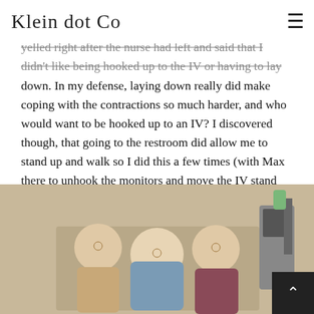Klein dot Co [hamburger menu]
monitor worked correctly. Max said this was the one time during labor that I got a bit cranky. Apparently I yelled right after the nurse had left and said that I didn't like being hooked up to the IV or having to lay down. In my defense, laying down really did make coping with the contractions so much harder, and who would want to be hooked up to an IV? I discovered though, that going to the restroom did allow me to stand up and walk so I did this a few times (with Max there to unhook the monitors and move the IV stand for me – best husband/labor coach ever!).
[Figure (photo): Three women in a hospital room. A patient sits in the center in a hospital bed wearing a blue gown, flanked by two smiling women. Medical equipment visible in the background.]